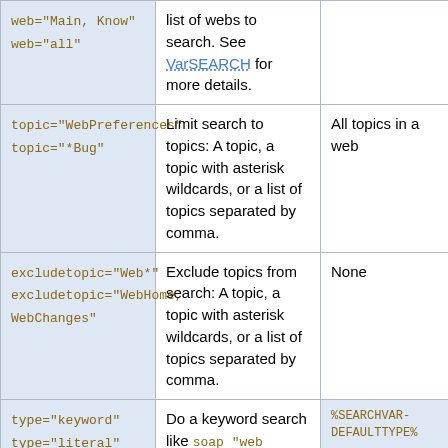| Parameter | Description | Default |
| --- | --- | --- |
| web="Main, Know"
web="all" | list of webs to search. See VarSEARCH for more details. |  |
| topic="WebPreferences"
topic="*Bug" | Limit search to topics: A topic, a topic with asterisk wildcards, or a list of topics separated by comma. | All topics in a web |
| excludetopic="Web*"
excludetopic="WebHome, WebChanges" | Exclude topics from search: A topic, a topic with asterisk wildcards, or a list of topics separated by comma. | None |
| type="keyword"
type="literal"
type="regex" | Do a keyword search like soap "web service" - shampoo; a literal | %SEARCHVAR-DEFAULTTYPE% preferences setting (literal) |